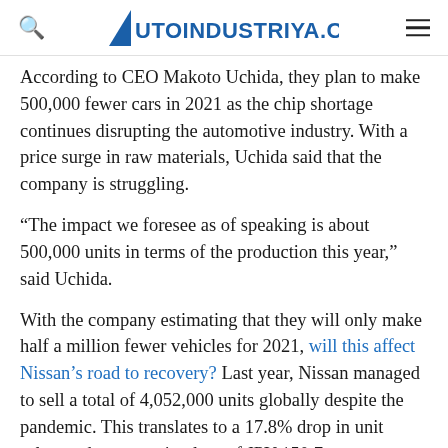AUTOINDUSTRIYA.COM
According to CEO Makoto Uchida, they plan to make 500,000 fewer cars in 2021 as the chip shortage continues disrupting the automotive industry. With a price surge in raw materials, Uchida said that the company is struggling.
“The impact we foresee as of speaking is about 500,000 units in terms of the production this year,” said Uchida.
With the company estimating that they will only make half a million fewer vehicles for 2021, will this affect Nissan’s road to recovery? Last year, Nissan managed to sell a total of 4,052,000 units globally despite the pandemic. This translates to a 17.8% drop in unit sales, and an operating loss of JPY 150.7